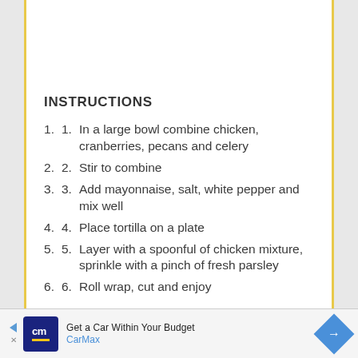INSTRUCTIONS
In a large bowl combine chicken, cranberries, pecans and celery
Stir to combine
Add mayonnaise, salt, white pepper and mix well
Place tortilla on a plate
Layer with a spoonful of chicken mixture, sprinkle with a pinch of fresh parsley
Roll wrap, cut and enjoy
Get a Car Within Your Budget CarMax [advertisement]